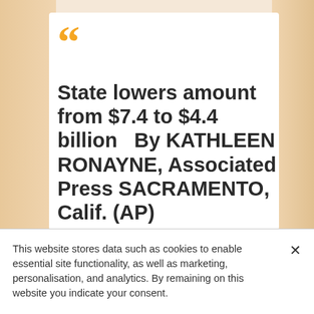State lowers amount from $7.4 to $4.4 billion   By KATHLEEN RONAYNE, Associated Press SACRAMENTO, Calif. (AP)
This website stores data such as cookies to enable essential site functionality, as well as marketing, personalisation, and analytics. By remaining on this website you indicate your consent.